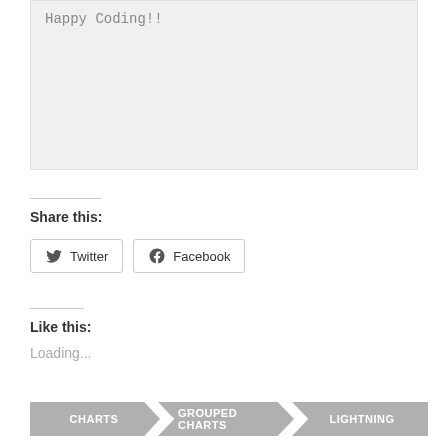[Figure (screenshot): Code block with light gray background showing text 'Happy Coding!!']
Share this:
Twitter
Facebook
Like this:
Loading...
CHARTS   GROUPED CHARTS   LIGHTNING